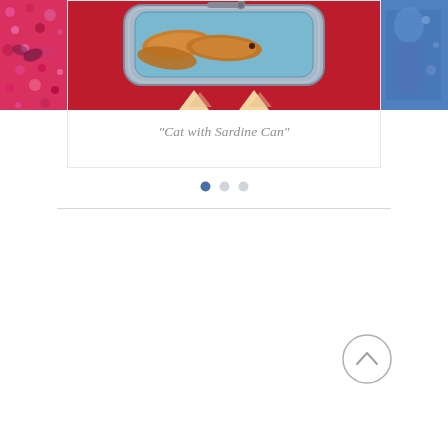[Figure (photo): Carousel showing artwork slide. Left partial image with pink/red patterned art, center image of cat with sardine can artwork on red background, right partial blue image. Below the images is a white card area with the title text. Three pagination dots below.]
"Cat with Sardine Can"
[Figure (other): Back-to-top button: circle outline with upward chevron/caret arrow inside]